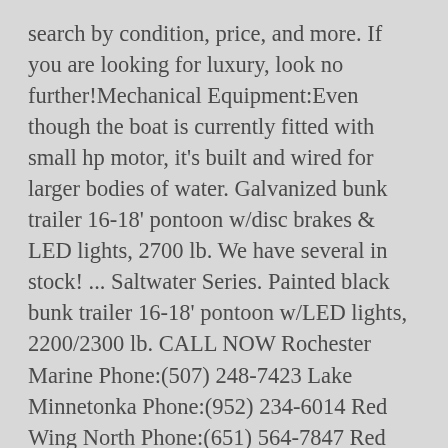search by condition, price, and more. If you are looking for luxury, look no further!Mechanical Equipment:Even though the boat is currently fitted with small hp motor, it's built and wired for larger bodies of water. Galvanized bunk trailer 16-18' pontoon w/disc brakes & LED lights, 2700 lb. We have several in stock! ... Saltwater Series. Painted black bunk trailer 16-18' pontoon w/LED lights, 2200/2300 lb. CALL NOW Rochester Marine Phone:(507) 248-7423 Lake Minnetonka Phone:(952) 234-6014 Red Wing North Phone:(651) 564-7847 Red Wing Marine South Phone: (651) 564 ... 2017 HIGHEST AND BEST USE ANALYSIS OF THE SR520 PONTOON CASTING BASIN Prepared by